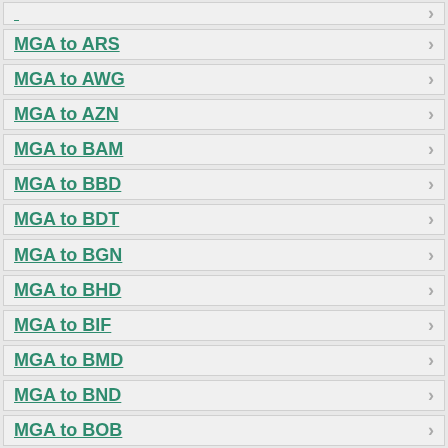MGA to ARS
MGA to AWG
MGA to AZN
MGA to BAM
MGA to BBD
MGA to BDT
MGA to BGN
MGA to BHD
MGA to BIF
MGA to BMD
MGA to BND
MGA to BOB